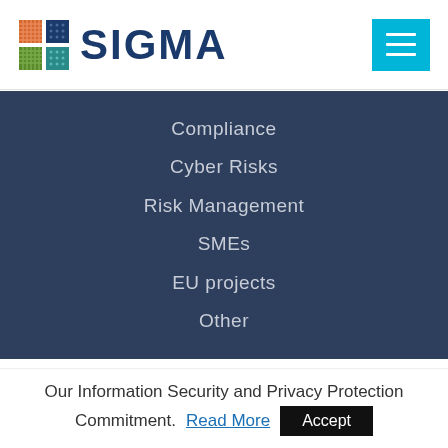[Figure (logo): SIGMA logo with colorful 2x2 grid icon (orange, blue, green, teal) and bold dark blue SIGMA text]
[Figure (other): Cyan/turquoise hamburger menu button with three white horizontal lines]
Compliance
Cyber Risks
Risk Management
SMEs
EU projects
Other
Our Information Security and Privacy Protection Commitment. Read More
Accept